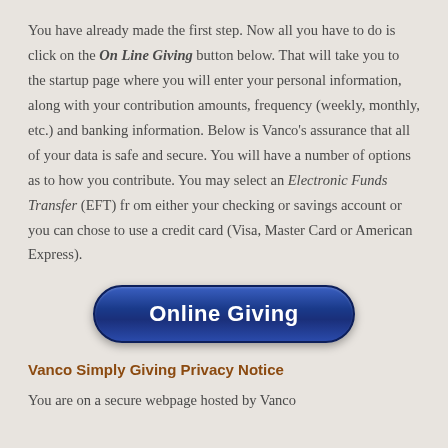You have already made the first step. Now all you have to do is click on the On Line Giving button below. That will take you to the startup page where you will enter your personal information, along with your contribution amounts, frequency (weekly, monthly, etc.) and banking information. Below is Vanco's assurance that all of your data is safe and secure. You will have a number of options as to how you contribute. You may select an Electronic Funds Transfer (EFT) fr om either your checking or savings account or you can chose to use a credit card (Visa, Master Card or American Express).
[Figure (other): Blue rounded rectangle button labeled 'Online Giving']
Vanco Simply Giving Privacy Notice
You are on a secure webpage hosted by Vanco